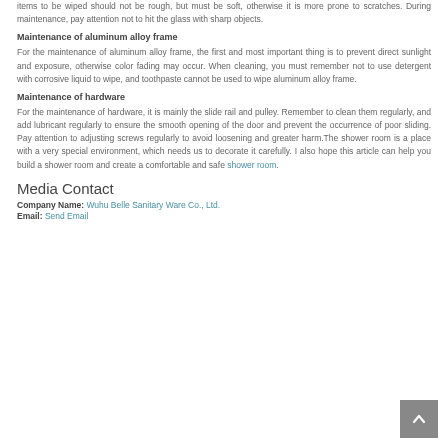items to be wiped should not be rough, but must be soft, otherwise it is more prone to scratches. During maintenance, pay attention not to hit the glass with sharp objects.
Maintenance of aluminum alloy frame
For the maintenance of aluminum alloy frame, the first and most important thing is to prevent direct sunlight and exposure, otherwise color fading may occur. When cleaning, you must remember not to use detergent with corrosive liquid to wipe, and toothpaste cannot be used to wipe aluminum alloy frame.
Maintenance of hardware
For the maintenance of hardware, it is mainly the slide rail and pulley. Remember to clean them regularly, and add lubricant regularly to ensure the smooth opening of the door and prevent the occurrence of poor sliding. Pay attention to adjusting screws regularly to avoid loosening and greater harm.The shower room is a place with a very special environment, which needs us to decorate it carefully. I also hope this article can help you build a shower room and create a comfortable and safe shower room.
Media Contact
Company Name: Wuhu Belle Sanitary Ware Co., Ltd.
Email: Send Email